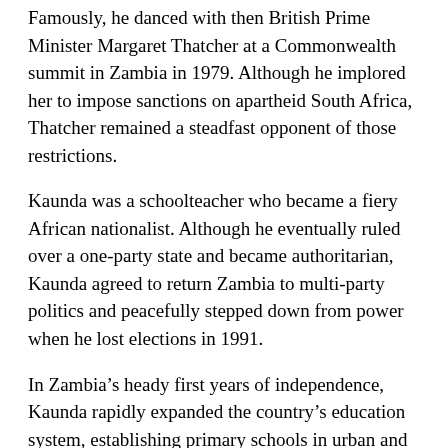Famously, he danced with then British Prime Minister Margaret Thatcher at a Commonwealth summit in Zambia in 1979. Although he implored her to impose sanctions on apartheid South Africa, Thatcher remained a steadfast opponent of those restrictions.
Kaunda was a schoolteacher who became a fiery African nationalist. Although he eventually ruled over a one-party state and became authoritarian, Kaunda agreed to return Zambia to multi-party politics and peacefully stepped down from power when he lost elections in 1991.
In Zambia’s heady first years of independence, Kaunda rapidly expanded the country’s education system, establishing primary schools in urban and rural areas and providing all students with books and meals. His government established a university and medical school. Kaunda also expanded Zambia’s health system to serve the Black majority.
Genial and persuasive, Kaunda gained respect as a